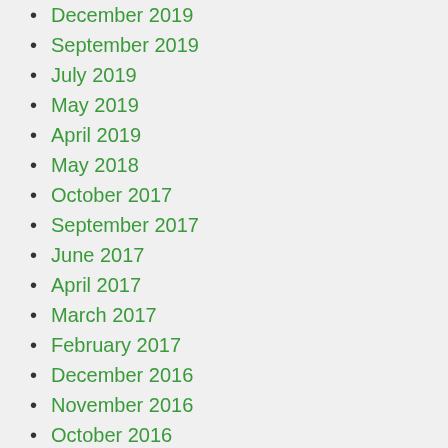December 2019
September 2019
July 2019
May 2019
April 2019
May 2018
October 2017
September 2017
June 2017
April 2017
March 2017
February 2017
December 2016
November 2016
October 2016
July 2016
June 2016
April 2016
February 2016
November 2015
October 2015
August 2015